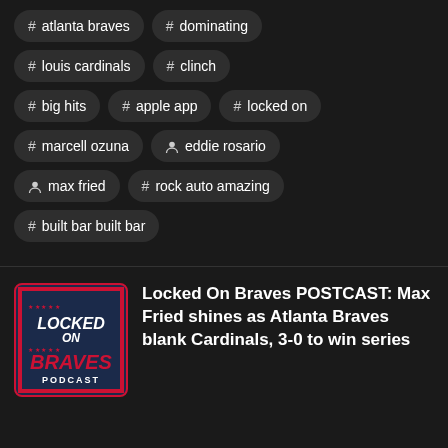# atlanta braves
# dominating
# louis cardinals
# clinch
# big hits
# apple app
# locked on
# marcell ozuna
person eddie rosario
person max fried
# rock auto amazing
# built bar built bar
[Figure (logo): Locked On Braves Podcast logo — dark navy background with red border, white bold text LOCKED ON and BRAVES PODCAST with star decorations]
Locked On Braves POSTCAST: Max Fried shines as Atlanta Braves blank Cardinals, 3-0 to win series